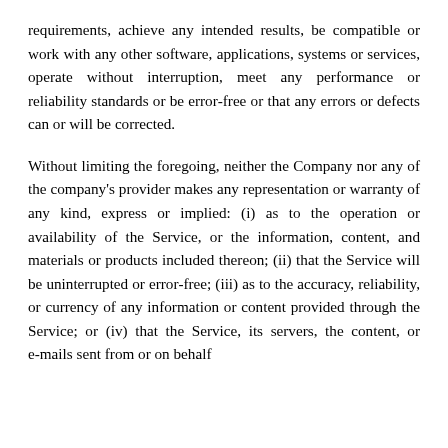requirements, achieve any intended results, be compatible or work with any other software, applications, systems or services, operate without interruption, meet any performance or reliability standards or be error-free or that any errors or defects can or will be corrected.
Without limiting the foregoing, neither the Company nor any of the company's provider makes any representation or warranty of any kind, express or implied: (i) as to the operation or availability of the Service, or the information, content, and materials or products included thereon; (ii) that the Service will be uninterrupted or error-free; (iii) as to the accuracy, reliability, or currency of any information or content provided through the Service; or (iv) that the Service, its servers, the content, or e-mails sent from or on behalf